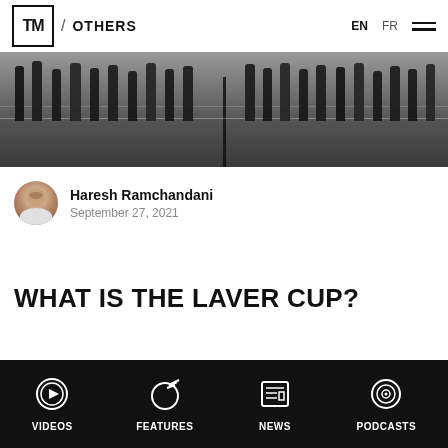TM / OTHERS   EN  FR
[Figure (photo): Group of tennis players/team members standing on a tennis court near the net, viewed from a low angle showing mostly legs and feet]
Haresh Ramchandani
September 27, 2021
WHAT IS THE LAVER CUP?
VIDEOS  FEATURES  NEWS  PODCASTS